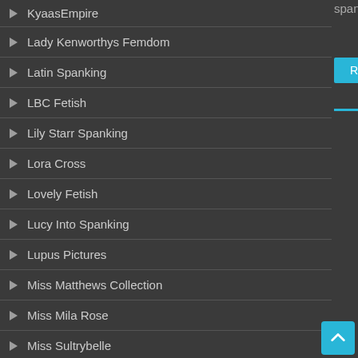spanked her but he is gone and …
KyaasEmpire
Lady Kenworthys Femdom
Latin Spanking
LBC Fetish
Lily Starr Spanking
Lora Cross
Lovely Fetish
Lucy Into Spanking
Lupus Pictures
Miss Matthews Collection
Miss Mila Rose
Miss Sultrybelle
MissLiLu